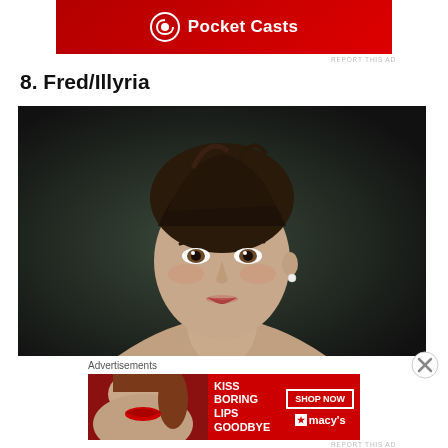[Figure (other): Pocket Casts advertisement banner with red background and podcast icon]
REPORT THIS AD
8. Fred/Illyria
[Figure (photo): Portrait photograph of a young woman with dark hair up, pearl earring, bare shoulders, against dark background]
Advertisements
[Figure (other): Macy's advertisement: KISS BORING LIPS GOODBYE with SHOP NOW button and macy's star logo, red background, woman with red lips]
REPORT THIS AD